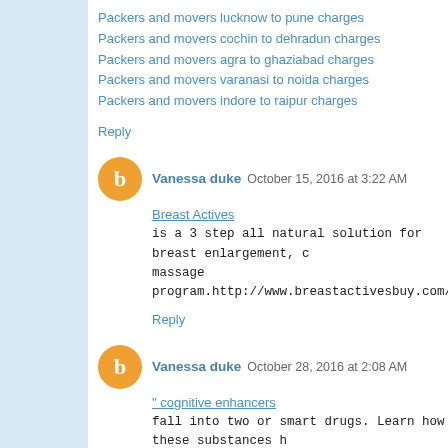Packers and movers lucknow to pune charges
Packers and movers cochin to dehradun charges
Packers and movers agra to ghaziabad charges
Packers and movers varanasi to noida charges
Packers and movers indore to raipur charges
Reply
Vanessa duke  October 15, 2016 at 3:22 AM
Breast Actives
is a 3 step all natural solution for breast enlargement, c massage program.http://www.breastactivesbuy.com/
Reply
Vanessa duke  October 28, 2016 at 2:08 AM
" cognitive enhancers
fall into two or smart drugs. Learn how these substances h http://www.noocube-review.com"
Reply
Nootropics  November 15, 2016 at 6:58 AM